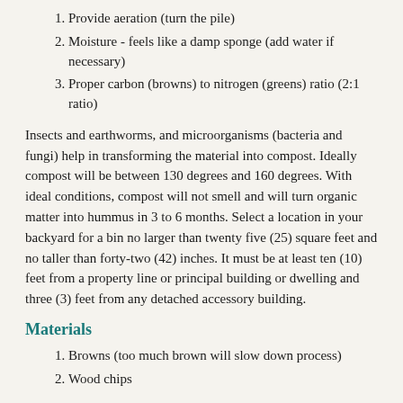1. Provide aeration (turn the pile)
2. Moisture - feels like a damp sponge (add water if necessary)
3. Proper carbon (browns) to nitrogen (greens) ratio (2:1 ratio)
Insects and earthworms, and microorganisms (bacteria and fungi) help in transforming the material into compost. Ideally compost will be between 130 degrees and 160 degrees. With ideal conditions, compost will not smell and will turn organic matter into hummus in 3 to 6 months. Select a location in your backyard for a bin no larger than twenty five (25) square feet and no taller than forty-two (42) inches. It must be at least ten (10) feet from a property line or principal building or dwelling and three (3) feet from any detached accessory building.
Materials
1. Browns (too much brown will slow down process)
2. Wood chips